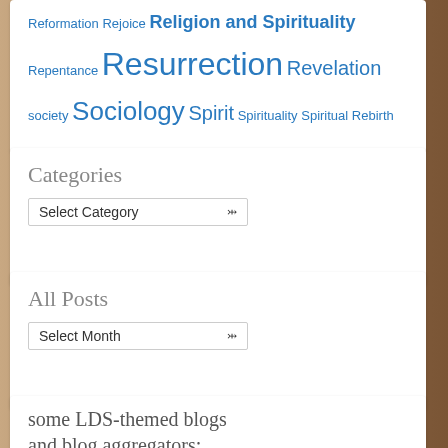Reformation Rejoice Religion and Spirituality Repentance Resurrection Revelation society Sociology Spirit Spirituality Spiritual Rebirth Testimony Theology Trust Weakness Wealth Western Europe Wikipedia Works
Categories
Select Category
All Posts
Select Month
some LDS-themed blogs and blog aggregators: